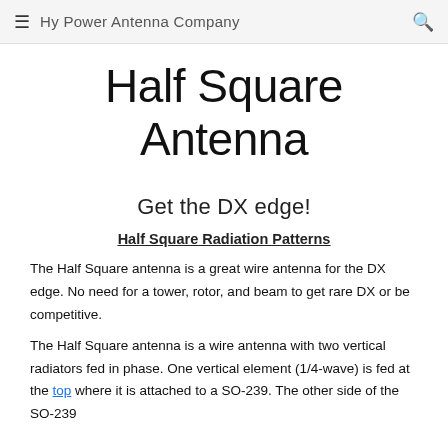Hy Power Antenna Company
Half Square Antenna
Get the DX edge!
Half Square Radiation Patterns
The Half Square antenna is a great wire antenna for the DX edge. No need for a tower, rotor, and beam to get rare DX or be competitive.
The Half Square antenna is a wire antenna with two vertical radiators fed in phase. One vertical element (1/4-wave) is fed at the top where it is attached to a SO-239. The other side of the SO-239